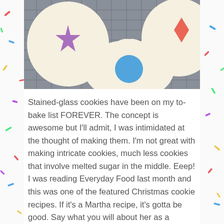[Figure (photo): Close-up photo of stained-glass sugar cookies on a cooling rack. The cookies are round with ruffled edges, decorated with colorful translucent candy centers in shapes including a blue circle, a purple star, and a red diamond.]
Stained-glass cookies have been on my to-bake list FOREVER. The concept is awesome but I'll admit, I was intimidated at the thought of making them. I'm not great with making intricate cookies, much less cookies that involve melted sugar in the middle. Eeep! I was reading Everyday Food last month and this was one of the featured Christmas cookie recipes. If it's a Martha recipe, it's gotta be good. Say what you will about her as a person, her brand and her recipes are flawless. I decided to give these a try and they weren't nearly as difficult as I was expecting. There are a few things I would do differently next time and I included those notes in the